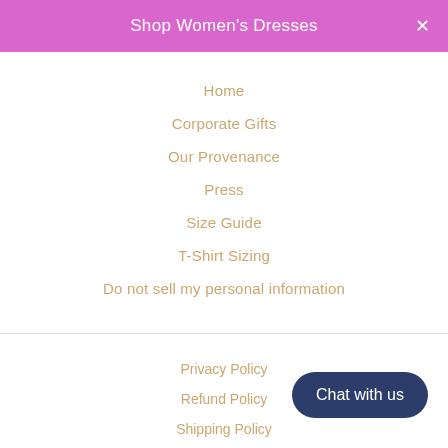Shop Women's Dresses
Home
Corporate Gifts
Our Provenance
Press
Size Guide
T-Shirt Sizing
Do not sell my personal information
Privacy Policy
Refund Policy
Shipping Policy
Job Listings
Contact Us
Chat with us